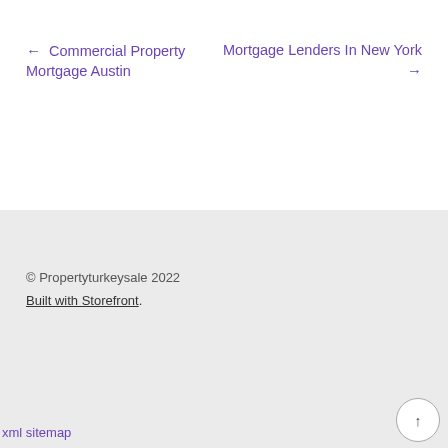← Commercial Property Mortgage Austin
Mortgage Lenders In New York →
© Propertyturkeysale 2022
Built with Storefront.
xml sitemap